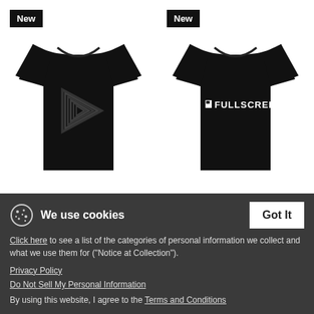[Figure (photo): Black women's t-shirt with geometric play button triangle graphic on front]
play - Women's T-Shirt
$26.49
[Figure (photo): Black women's t-shirt with FULLSCREEN logo text on front]
Logo - Women's T-Shirt
$26.49
We use cookies
Click here to see a list of the categories of personal information we collect and what we use them for ("Notice at Collection").
Privacy Policy
Do Not Sell My Personal Information
By using this website, I agree to the Terms and Conditions